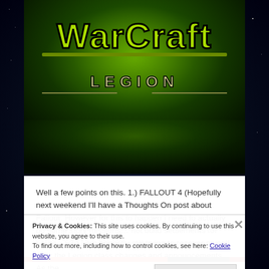[Figure (screenshot): World of Warcraft: Legion logo on dark green background]
Well a few points on this. 1.) FALLOUT 4 (Hopefully next weekend I'll have a Thoughts On post about Fallout. However for this to happen I need to actually do some story missions… not build settlements for hours…) 2.) I am honestly still trying to recover myself after the Legion class changes and announcements. As the
Privacy & Cookies: This site uses cookies. By continuing to use this website, you agree to their use.
To find out more, including how to control cookies, see here: Cookie Policy
Close and accept